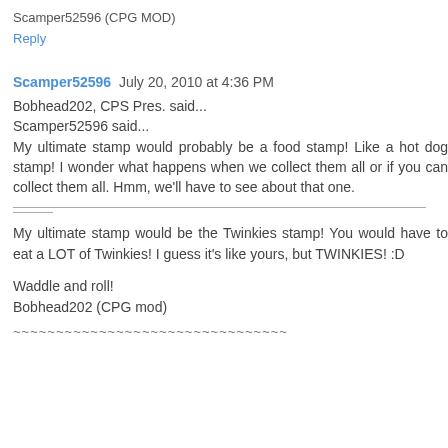Scamper52596 (CPG MOD)
Reply
Scamper52596   July 20, 2010 at 4:36 PM
Bobhead202, CPS Pres. said...
Scamper52596 said...
My ultimate stamp would probably be a food stamp! Like a hot dog stamp! I wonder what happens when we collect them all or if you can collect them all. Hmm, we'll have to see about that one.
My ultimate stamp would be the Twinkies stamp! You would have to eat a LOT of Twinkies! I guess it's like yours, but TWINKIES! :D
Waddle and roll!
Bobhead202 (CPG mod)
~~~~~~~~~~~~~~~~~~~~~~~~~~~~~~~~